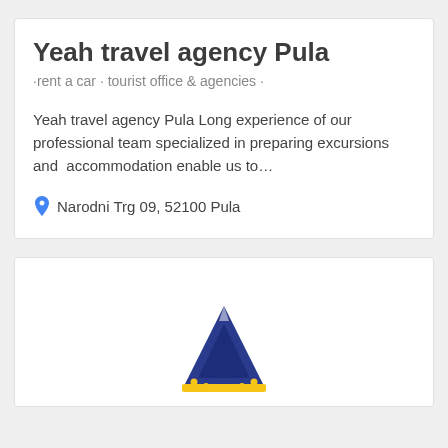Yeah travel agency Pula
·rent a car · tourist office & agencies ·
Yeah travel agency Pula Long experience of our professional team specialized in preparing excursions and  accommodation enable us to…
Narodni Trg 09, 52100 Pula
[Figure (logo): Logo with stylized tent/camping icon in blue and yellow colors]